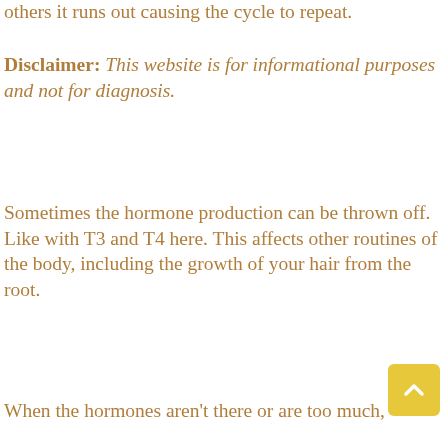others it runs out causing the cycle to repeat.
Disclaimer: This website is for informational purposes and not for diagnosis.
Sometimes the hormone production can be thrown off. Like with T3 and T4 here. This affects other routines of the body, including the growth of your hair from the root.
When the hormones aren't there or are too much,